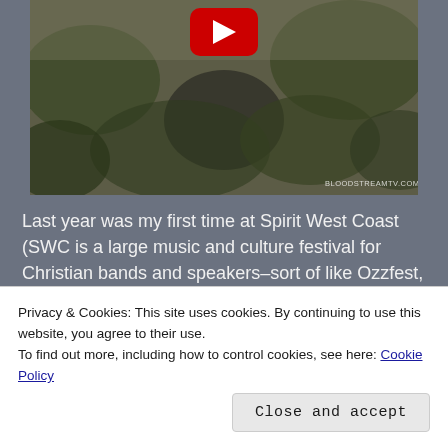[Figure (screenshot): A YouTube video thumbnail showing an outdoor scene with vegetation and a blurred figure. A red YouTube play button icon is visible at the top center. A watermark reading 'BLOODSTREAMTV.COM' appears at the bottom right.]
Last year was my first time at Spirit West Coast (SWC is a large music and culture festival for Christian bands and speakers–sort of like Ozzfest, but without most of the wordly trappings, like drugs, alcohol, and tattoo stands, not to mention the rampant occult...influences).  Early on in the
Privacy & Cookies: This site uses cookies. By continuing to use this website, you agree to their use.
To find out more, including how to control cookies, see here: Cookie Policy
Close and accept